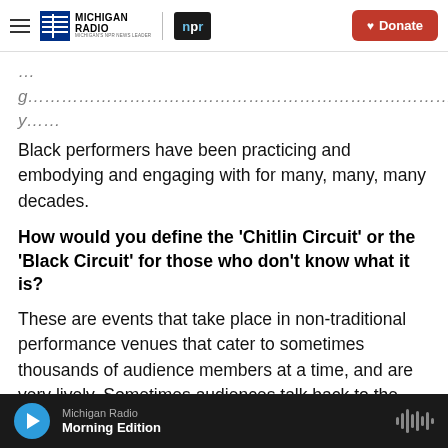Michigan Radio | NPR | Donate
Black performers have been practicing and embodying and engaging with for many, many, many decades.
How would you define the 'Chitlin Circuit' or the 'Black Circuit' for those who don't know what it is?
These are events that take place in non-traditional performance venues that cater to sometimes thousands of audience members at a time, and are very lively. Sometimes audiences talk back to the performers on stage. These productions often go on tours that last for a year or two and they hi
Michigan Radio | Morning Edition